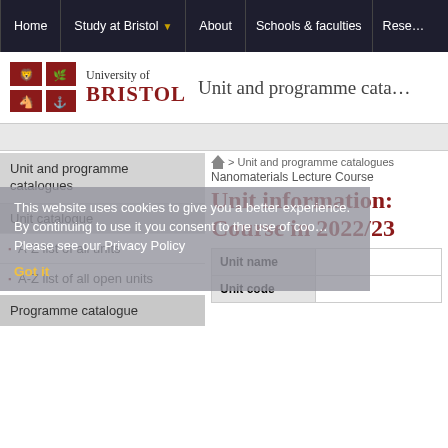Home | Study at Bristol | About | Schools & faculties | Rese...
[Figure (logo): University of Bristol logo with red shield crest and text]
Unit and programme cata...
> Unit and programme catalogues > Nanomaterials Lecture Course
Unit information: Nanomaterials Lecture Course in 2022/23
Unit and programme catalogues
Unit catalogue
A-Z list of all units
A-Z list of all open units
Programme catalogue
This website uses cookies to give you a better experience. By continuing to use it you consent to the use of cookies. Please see our Privacy Policy
| Unit name |  |
| --- | --- |
| Unit code |  |